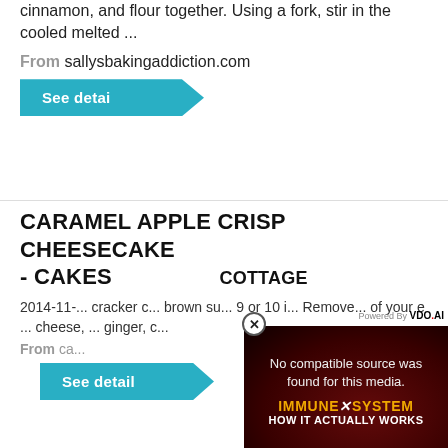cinnamon, and flour together. Using a fork, stir in the cooled melted ...
From sallysbakingaddiction.com
See detai
CARAMEL APPLE CRISP CHEESECAKE - CAKESCOTTAGE
2014-11-... cracker c... brown su... 9 or 10 i... Remove... of your e... cheese, ... ginger, c...
From ca...
See detail
[Figure (screenshot): Video overlay with dark red background showing 'No compatible source was found for this media.' and 'IMMUNE SYSTEM HOW IT ACTUALLY WORKS' text. Powered by VDO.AI branding in top right. Close button (X) in circle on left side.]